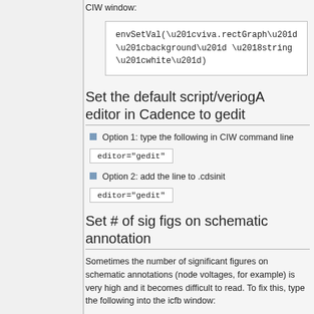CIW window:
envSetVal(“viva.rectGraph” “background” ‘string “white”)
Set the default script/veriogA editor in Cadence to gedit
Option 1: type the following in CIW command line
editor="gedit"
Option 2: add the line to .cdsinit
editor="gedit"
Set # of sig figs on schematic annotation
Sometimes the number of significant figures on schematic annotations (node voltages, for example) is very high and it becomes difficult to read. To fix this, type the following into the icfb window: